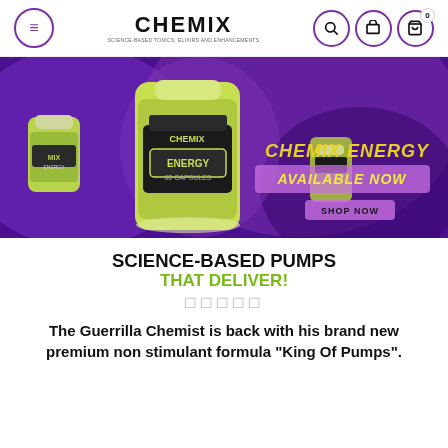CHEMIX — navigation bar with menu, logo, search, store, and cart icons
[Figure (photo): Banner image with purple background showing Chemix Energy supplement bottles. Text overlay reads 'CHEMIX ENERGY AVAILABLE NOW SHOP NOW' in yellow and pink neon-style lettering.]
SCIENCE-BASED PUMPS THAT DELIVER!
⭐⭐⭐⭐⭐
The Guerrilla Chemist is back with his brand new premium non stimulant formula "King Of Pumps".